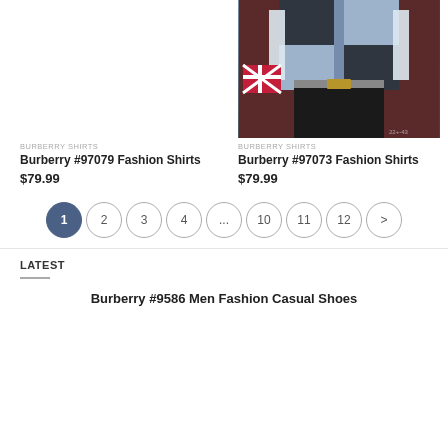[Figure (photo): Left product slot - white/empty background for Burberry #97079 Fashion Shirts]
[Figure (photo): Man wearing Burberry plaid fashion shirt, black trousers, in front of dark brick wall with Union Jack luggage]
BURBERRY SHIRTS
Burberry #97079 Fashion Shirts
$79.99
BURBERRY SHIRTS
Burberry #97073 Fashion Shirts
$79.99
1 2 3 4 ... 10 11 12 >
LATEST
Burberry #9586 Men Fashion Casual Shoes